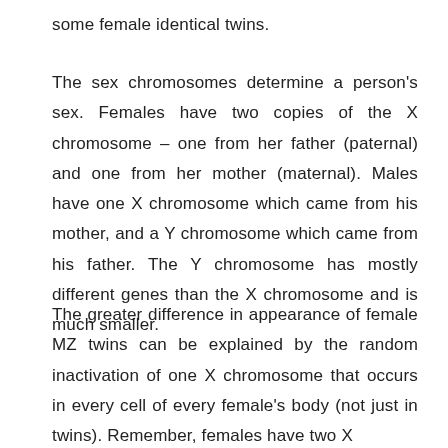some female identical twins.
The sex chromosomes determine a person's sex. Females have two copies of the X chromosome – one from her father (paternal) and one from her mother (maternal). Males have one X chromosome which came from his mother, and a Y chromosome which came from his father. The Y chromosome has mostly different genes than the X chromosome and is much smaller.
The greater difference in appearance of female MZ twins can be explained by the random inactivation of one X chromosome that occurs in every cell of every female's body (not just in twins). Remember, females have two X